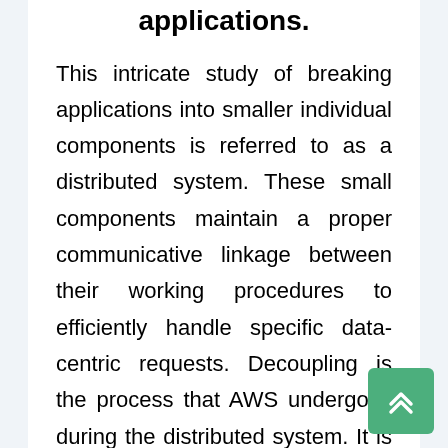applications.
This intricate study of breaking applications into smaller individual components is referred to as a distributed system. These small components maintain a proper communicative linkage between their working procedures to efficiently handle specific data-centric requests. Decoupling is the process that AWS undergoes during the distributed system. It is quite essential for an aspiring AWS solutions architect to know the role each